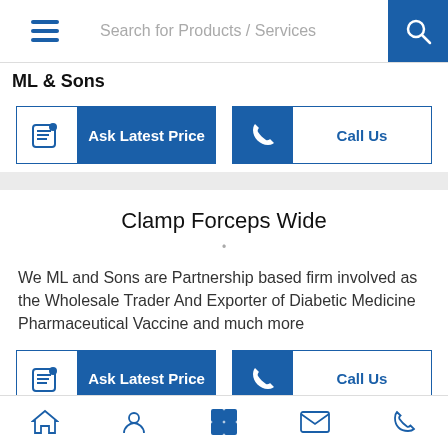Search for Products / Services
ML & Sons
[Figure (screenshot): Ask Latest Price button with tag icon]
[Figure (screenshot): Call Us button with phone icon]
Clamp Forceps Wide
We ML and Sons are Partnership based firm involved as the Wholesale Trader And Exporter of Diabetic Medicine Pharmaceutical Vaccine and much more
[Figure (screenshot): Ask Latest Price button with tag icon]
[Figure (screenshot): Call Us button with phone icon]
Open Loop
Home, Profile, Products, Contact, Call icons navigation bar